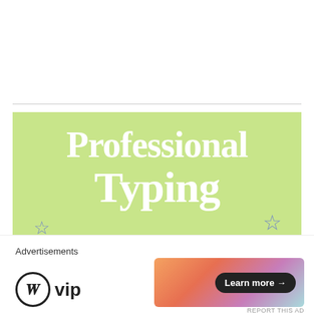[Figure (illustration): Advertisement banner with light green background showing 'Professional Typing' service ad with decorative star outlines. Text includes: 'Professional Typing', 'Competitive Price' in a blue box, 'Quick', 'Trusted', 'Confidential'. Star decorations scattered around.]
Advertisements
[Figure (logo): WordPress VIP logo: circular WordPress W icon followed by 'vip' text in bold]
[Figure (illustration): Learn more advertisement banner with gradient orange/pink/purple background and 'Learn more →' button in dark pill shape]